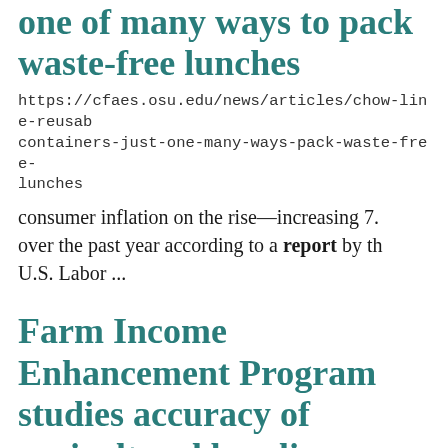one of many ways to pack waste-free lunches
https://cfaes.osu.edu/news/articles/chow-line-reusable-containers-just-one-many-ways-pack-waste-free-lunches
consumer inflation on the rise—increasing 7. over the past year according to a report by the U.S. Labor ...
Farm Income Enhancement Program studies accuracy of agricultural baseline
https://cfaes.osu.edu/news/articles/farm-income-enhancement-program-studies-accuracy-agricultural-baseline
for the future only up to four to five years.